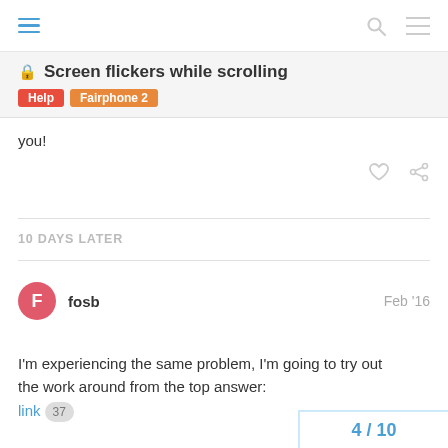Screen flickers while scrolling | Help | Fairphone 2
you!
10 DAYS LATER
fosb  Feb '16
I'm experiencing the same problem, I'm going to try out the work around from the top answer: link 37
4 / 10